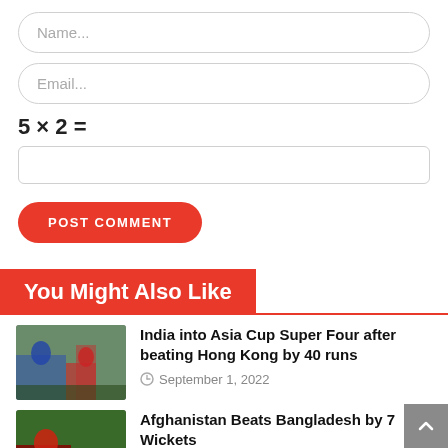Name...
Email...
POST COMMENT
You Might Also Like
India into Asia Cup Super Four after beating Hong Kong by 40 runs
September 1, 2022
Afghanistan Beats Bangladesh by 7 Wickets